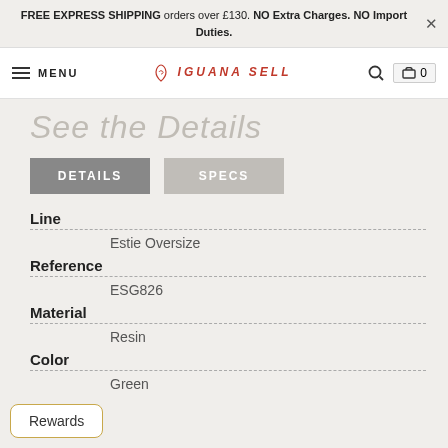FREE EXPRESS SHIPPING orders over £130. NO Extra Charges. NO Import Duties.
MENU — Iguana Sell — Search — Cart 0
See the Details
DETAILS | SPECS
Line
Estie Oversize
Reference
ESG826
Material
Resin
Color
Green
Rewards